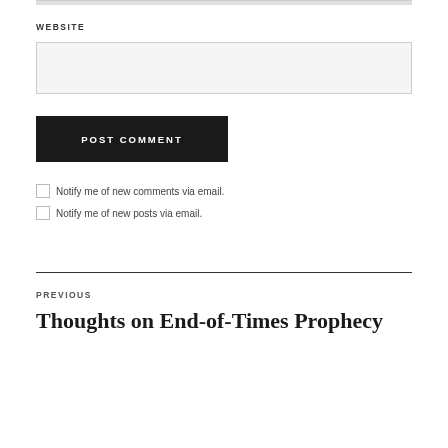WEBSITE
POST COMMENT
Notify me of new comments via email.
Notify me of new posts via email.
PREVIOUS
Thoughts on End-of-Times Prophecy